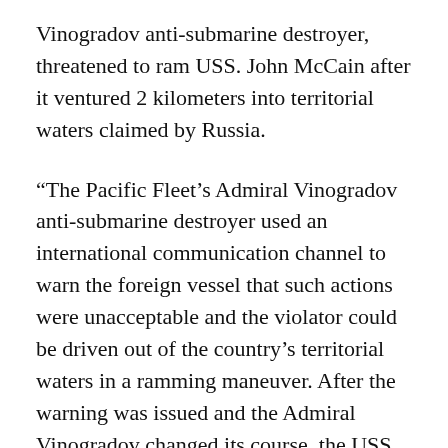Vinogradov anti-submarine destroyer, threatened to ram USS. John McCain after it ventured 2 kilometers into territorial waters claimed by Russia.
“The Pacific Fleet’s Admiral Vinogradov anti-submarine destroyer used an international communication channel to warn the foreign vessel that such actions were unacceptable and the violator could be driven out of the country’s territorial waters in a ramming maneuver. After the warning was issued and the Admiral Vinogradov changed its course, the USS John S. McCain destroyer returned to international